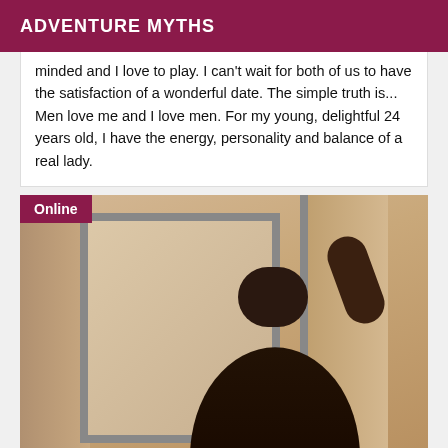ADVENTURE MYTHS
minded and I love to play. I can't wait for both of us to have the satisfaction of a wonderful date. The simple truth is... Men love me and I love men. For my young, delightful 24 years old, I have the energy, personality and balance of a real lady.
[Figure (photo): A woman posing in a room near a mirror and door frame, with an 'Online' badge overlay in the top-left corner]